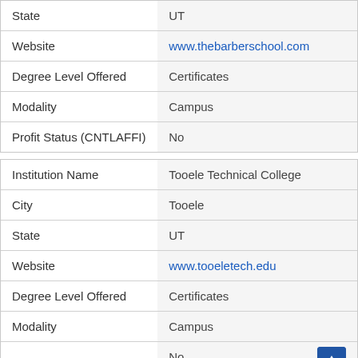| Field | Value |
| --- | --- |
| State | UT |
| Website | www.thebarberschool.com |
| Degree Level Offered | Certificates |
| Modality | Campus |
| Profit Status (CNTLAFFI) | No |
| Field | Value |
| --- | --- |
| Institution Name | Tooele Technical College |
| City | Tooele |
| State | UT |
| Website | www.tooeletech.edu |
| Degree Level Offered | Certificates |
| Modality | Campus |
| Profit Status (CNTLAFFI) | No |